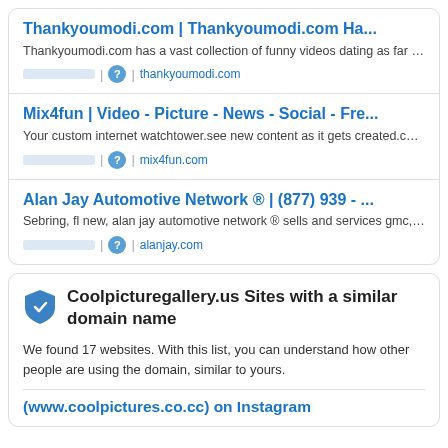Thankyoumodi.com | Thankyoumodi.com Ha...
Thankyoumodi.com has a vast collection of funny videos dating as far bac...
thankyoumodi.com
Mix4fun | Video - Picture - News - Social - Fre...
Your custom internet watchtower.see new content as it gets created.conte...
mix4fun.com
Alan Jay Automotive Network ® | (877) 939 - ...
Sebring, fl new, alan jay automotive network ® sells and services gmc, for...
alanjay.com
Coolpicturegallery.us Sites with a similar domain name
We found 17 websites. With this list, you can understand how other people are using the domain, similar to yours.
(www.coolpictures.co.cc) on Instagram